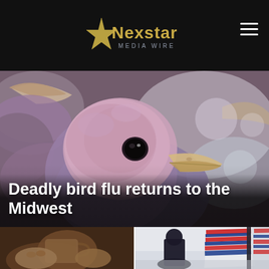[Figure (logo): Nexstar Media Wire logo with gold star on black header bar]
[Figure (photo): Close-up photo of baby turkey/bird with pink featherless head and dark eye, other birds visible in background]
Deadly bird flu returns to the Midwest
[Figure (photo): Close-up of hands around a coffee cup or mug]
[Figure (photo): Silhouette of person in front of American Airlines aircraft tail with red, white, and blue stripes]